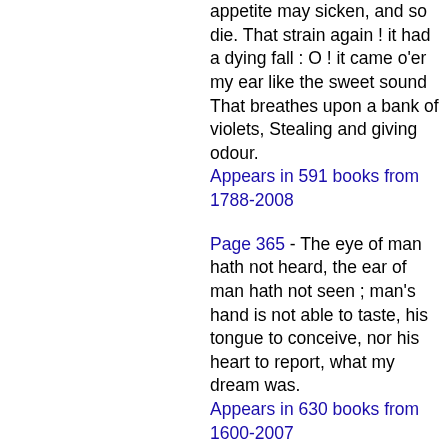appetite may sicken, and so die. That strain again ! it had a dying fall : O ! it came o'er my ear like the sweet sound That breathes upon a bank of violets, Stealing and giving odour.
Appears in 591 books from 1788-2008
Page 365 - The eye of man hath not heard, the ear of man hath not seen ; man's hand is not able to taste, his tongue to conceive, nor his heart to report, what my dream was.
Appears in 630 books from 1600-2007
Page 127 - Alas ! alas ?